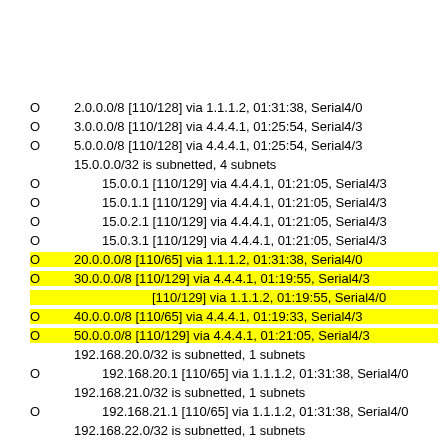O    2.0.0.0/8 [110/128] via 1.1.1.2, 01:31:38, Serial4/0
O    3.0.0.0/8 [110/128] via 4.4.4.1, 01:25:54, Serial4/3
O    5.0.0.0/8 [110/128] via 4.4.4.1, 01:25:54, Serial4/3
15.0.0.0/32 is subnetted, 4 subnets
O        15.0.0.1 [110/129] via 4.4.4.1, 01:21:05, Serial4/3
O        15.0.1.1 [110/129] via 4.4.4.1, 01:21:05, Serial4/3
O        15.0.2.1 [110/129] via 4.4.4.1, 01:21:05, Serial4/3
O        15.0.3.1 [110/129] via 4.4.4.1, 01:21:05, Serial4/3
O    20.0.0.0/8 [110/65] via 1.1.1.2, 01:31:38, Serial4/0 [HIGHLIGHTED]
O    30.0.0.0/8 [110/129] via 4.4.4.1, 01:19:55, Serial4/3 [HIGHLIGHTED]
[110/129] via 1.1.1.2, 01:19:55, Serial4/0 [HIGHLIGHTED]
O    40.0.0.0/8 [110/65] via 4.4.4.1, 01:19:33, Serial4/3 [HIGHLIGHTED]
O    50.0.0.0/8 [110/129] via 4.4.4.1, 01:21:05, Serial4/3 [HIGHLIGHTED]
192.168.20.0/32 is subnetted, 1 subnets
O        192.168.20.1 [110/65] via 1.1.1.2, 01:31:38, Serial4/0
192.168.21.0/32 is subnetted, 1 subnets
O        192.168.21.1 [110/65] via 1.1.1.2, 01:31:38, Serial4/0
192.168.22.0/32 is subnetted, 1 subnets